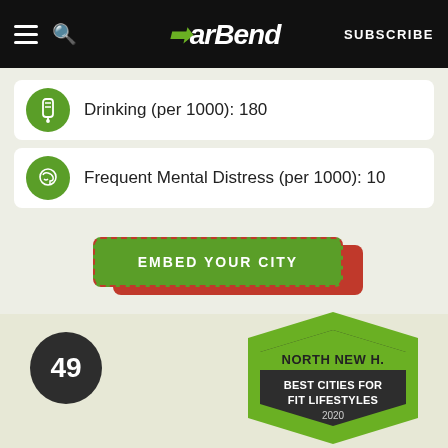BarBend — SUBSCRIBE
Drinking (per 1000): 180
Frequent Mental Distress (per 1000): 10
EMBED YOUR CITY
[Figure (infographic): Hexagonal badge for 'Best Cities for Fit Lifestyles 2020' showing rank 49 and city name NORTH NEW H.]